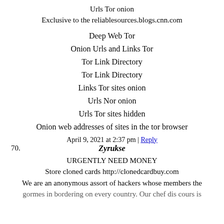Urls Tor onion
Exclusive to the reliablesources.blogs.cnn.com
Deep Web Tor
Onion Urls and Links Tor
Tor Link Directory
Tor Link Directory
Links Tor sites onion
Urls Nor onion
Urls Tor sites hidden
Onion web addresses of sites in the tor browser
April 9, 2021 at 2:37 pm | Reply
70.  Zyrukse
URGENTLY NEED MONEY
Store cloned cards http://clonedcardbuy.com
We are an anonymous assort of hackers whose members the
gormes in bordering on every country. Our chef dis cours is...